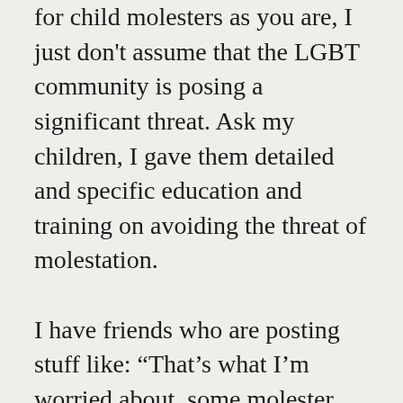for child molesters as you are, I just don't assume that the LGBT community is posing a significant threat.  Ask my children, I gave them detailed and specific education and training on avoiding the threat of molestation.

I have friends who are posting stuff like:  “That’s what I’m worried about, some molester guy posing as a transgender person to get into the bathroom.”  Let’s walk this one through.  Let’s say there’s a guy who wants to molest a child.  Is dressing up like a woman to claim transgender privilege the easiest way to do this?  Unfortunately, there are many women out there more than willing to allow instant access